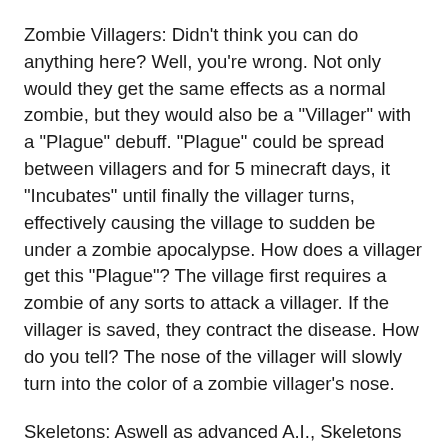Zombie Villagers: Didn't think you can do anything here? Well, you're wrong. Not only would they get the same effects as a normal zombie, but they would also be a "Villager" with a "Plague" debuff. "Plague" could be spread between villagers and for 5 minecraft days, it "Incubates" until finally the villager turns, effectively causing the village to sudden be under a zombie apocalypse. How does a villager get this "Plague"? The village first requires a zombie of any sorts to attack a villager. If the villager is saved, they contract the disease. How do you tell? The nose of the villager will slowly turn into the color of a zombie villager's nose.
Skeletons: Aswell as advanced A.I., Skeletons will spawn with an array of arrows, causing "Poison", "Slowing", "Blindness", "Weakness", and "Punctured". The "Punctured" debuff will cause the player's armor to take a tremendous amount of durability loss and can be